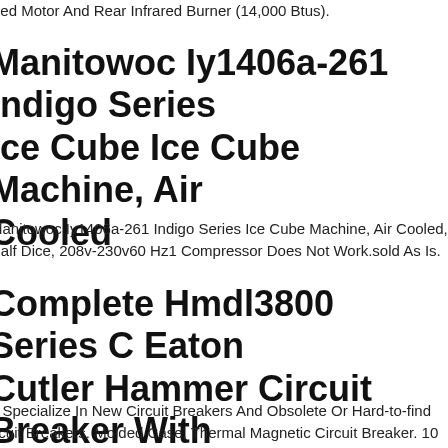eed Motor And Rear Infrared Burner (14,000 Btus).
Manitowoc Iy1406a-261 Indigo Series Ice Cube Ice Cube Machine, Air Cooled
Manitowoc Iy1406a-261 Indigo Series Ice Cube Machine, Air Cooled, Half Dice, 208v-230v60 Hz1 Compressor Does Not Work.sold As Is.
Complete Hmdl3800 Series C Eaton Cutler Hammer Circuit Breaker With 100 Amp Trip
e Specialize In New Circuit Breakers And Obsolete Or Hard-to-find Circuit Breakers. Molded Case, Thermal Magnetic Circuit Breaker. 100 Kiloampere At 240 Vac, 65 Kiloampere At 480 Vac, 35 Kiloampere At 600 Vac, 25 Kiloampere At 250 Vdc (dc use).